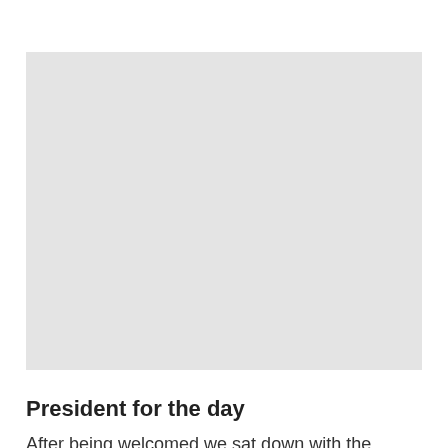[Figure (photo): A large light grey placeholder rectangle representing a photograph on the page.]
President for the day
After being welcomed we sat down with the